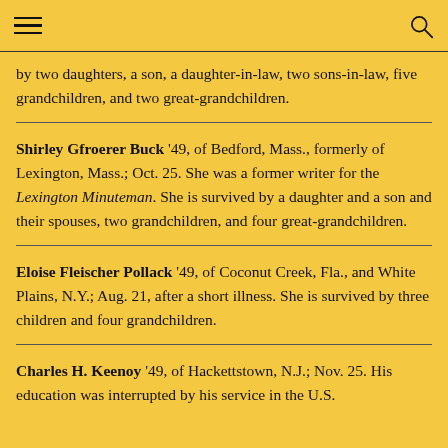by two daughters, a son, a daughter-in-law, two sons-in-law, five grandchildren, and two great-grandchildren.
Shirley Gfroerer Buck '49, of Bedford, Mass., formerly of Lexington, Mass.; Oct. 25. She was a former writer for the Lexington Minuteman. She is survived by a daughter and a son and their spouses, two grandchildren, and four great-grandchildren.
Eloise Fleischer Pollack '49, of Coconut Creek, Fla., and White Plains, N.Y.; Aug. 21, after a short illness. She is survived by three children and four grandchildren.
Charles H. Keenoy '49, of Hackettstown, N.J.; Nov. 25. His education was interrupted by his service in the U.S.